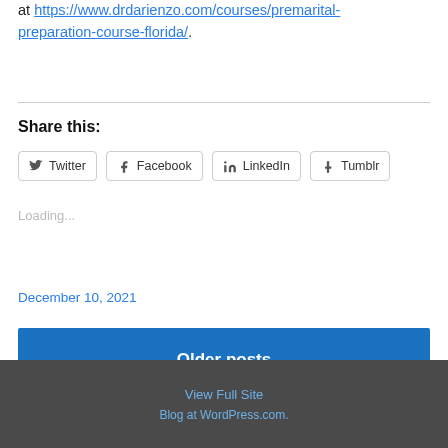at https://www.drdarienzo.com/courses/premarital-preparation-course-florida/.
Share this:
[Figure (other): Social share buttons: Twitter, Facebook, LinkedIn, Tumblr]
Loading...
December 10, 2021
Older posts
View Full Site